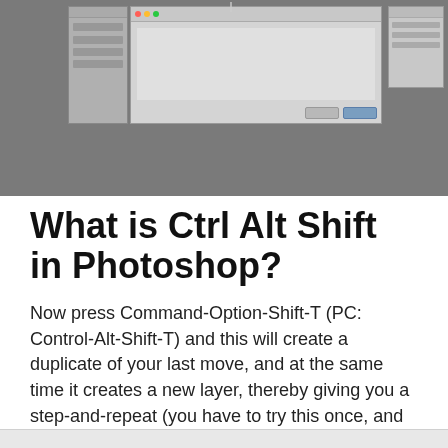[Figure (screenshot): Screenshot of Adobe Photoshop interface showing a dialog box and panels on a dark gray background]
What is Ctrl Alt Shift in Photoshop?
Now press Command-Option-Shift-T (PC: Control-Alt-Shift-T) and this will create a duplicate of your last move, and at the same time it creates a new layer, thereby giving you a step-and-repeat (you have to try this once, and you'll immediately “get it”).
Photoshop